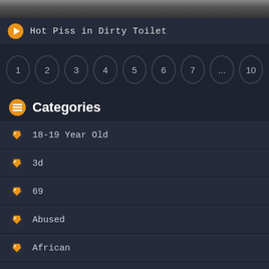[Figure (photo): Partial top image bar cropped at top of page]
Hot Piss in Dirty Toilet
1
2
3
4
5
6
7
...
10
Categories
18-19 Year Old
3d
69
Abused
African
Aggressive
Amateur